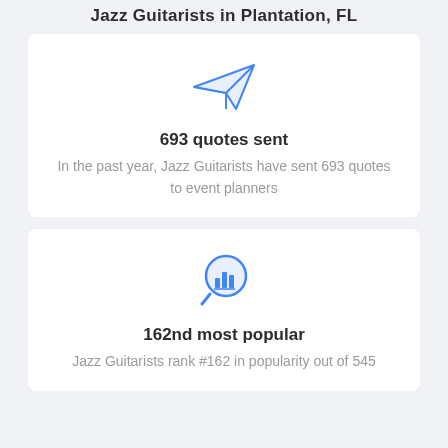Jazz Guitarists in Plantation, FL
[Figure (illustration): Paper plane / send icon in blue outline style]
693 quotes sent
In the past year, Jazz Guitarists have sent 693 quotes to event planners
[Figure (illustration): Magnifying glass with bar chart icon in blue outline style]
162nd most popular
Jazz Guitarists rank #162 in popularity out of 545